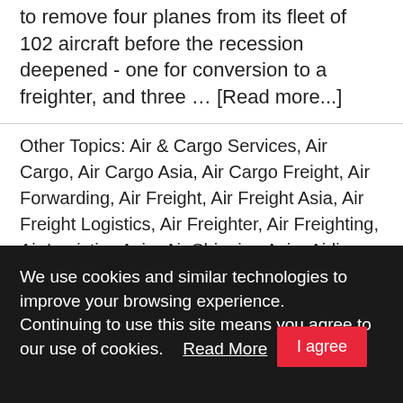to remove four planes from its fleet of 102 aircraft before the recession deepened - one for conversion to a freighter, and three … [Read more...]
Other Topics: Air & Cargo Services, Air Cargo, Air Cargo Asia, Air Cargo Freight, Air Forwarding, Air Freight, Air Freight Asia, Air Freight Logistics, Air Freighter, Air Freighting, Air Logistics Asia, Air Shipping Asia, Airlines Cargo, Airways Cargo, Asia Cargo News, Cargo, Cargo Aviation, Freighter, Park, Passenger, SIA, Singapore Airlines
We use cookies and similar technologies to improve your browsing experience.
Continuing to use this site means you agree to our use of cookies.   Read More